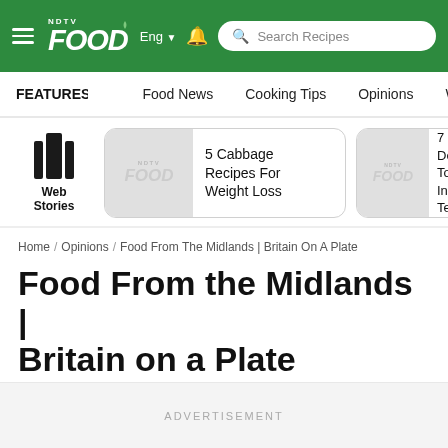NDTV Food — Eng — Search Recipes
FEATURES | Food News | Cooking Tips | Opinions | World Cuisine
[Figure (screenshot): Web Stories section with two story cards: '5 Cabbage Recipes For Weight Loss' and '7 Delicious To Innova Tea']
Home / Opinions / Food From The Midlands | Britain On A Plate
Food From the Midlands | Britain on a Plate
ADVERTISEMENT